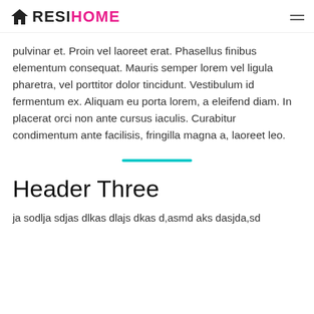RESIHOME
pulvinar et. Proin vel laoreet erat. Phasellus finibus elementum consequat. Mauris semper lorem vel ligula pharetra, vel porttitor dolor tincidunt. Vestibulum id fermentum ex. Aliquam eu porta lorem, a eleifend diam. In placerat orci non ante cursus iaculis. Curabitur condimentum ante facilisis, fringilla magna a, laoreet leo.
Header Three
ja sodlja sdjas dlkas dlajs dkas d,asmd aks dasjda,sd